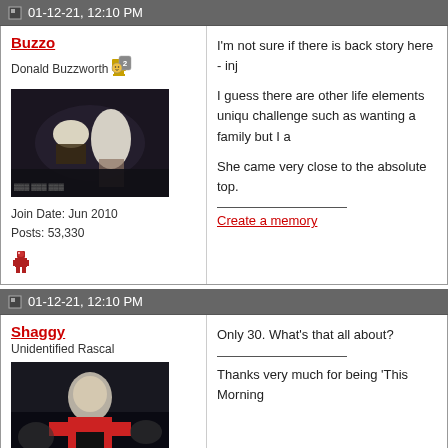01-12-21, 12:10 PM
Buzzo
Donald Buzzworth
Join Date: Jun 2010
Posts: 53,330
I'm not sure if there is back story here - inj

I guess there are other life elements uniqu challenge such as wanting a family but I a

She came very close to the absolute top.

Create a memory
01-12-21, 12:10 PM
Shaggy
Unidentified Rascal
Join Date: Jul 2006
Posts: 133,884
Only 30. What's that all about?

Thanks very much for being 'This Morning